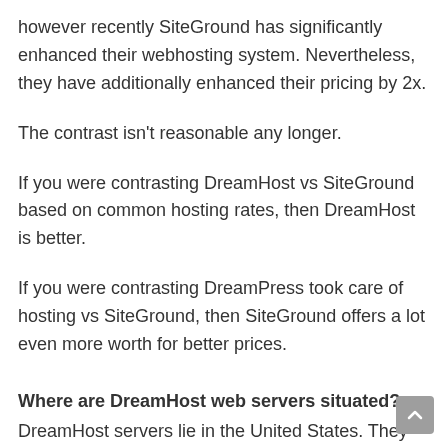however recently SiteGround has significantly enhanced their webhosting system. Nevertheless, they have additionally enhanced their pricing by 2x.
The contrast isn't reasonable any longer.
If you were contrasting DreamHost vs SiteGround based on common hosting rates, then DreamHost is better.
If you were contrasting DreamPress took care of hosting vs SiteGround, then SiteGround offers a lot even more worth for better prices.
Where are DreamHost web servers situated?
DreamHost servers lie in the United States. They have